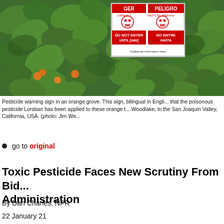[Figure (photo): Pesticide warning sign posted in an orange grove with green leafy trees. The sign shows bilingual text in English and Spanish with skull and crossbones symbols, reading 'DANGER PELIGRO', 'DO NOT ENTER UNTIL', 'NO ENTRE HASTA', and 'PESTICIDE SPRAYING'.]
Pesticide warning sign in an orange grove. This sign, bilingual in English and Spanish, warns that the poisonous pesticide Lorsban has been applied to these orange trees in Woodlake, in the San Joaquin Valley, California, USA. (photo: Jim We...
go to original
Toxic Pesticide Faces New Scrutiny From Biden Administration
By Dan Charles, NPR
22 January 21